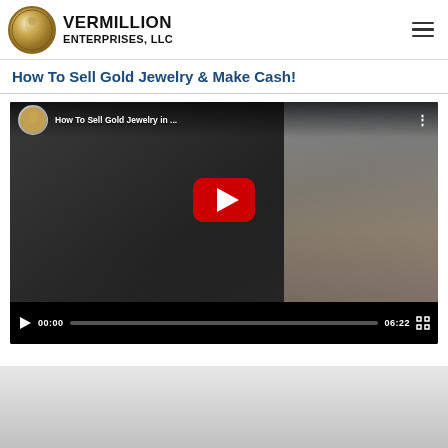VERMILLION ENTERPRISES, LLC
How To Sell Gold Jewelry & Make Cash!
[Figure (screenshot): YouTube video embed showing a man examining a jewelry item with a loupe. Video title: 'How To Sell Gold Jewelry in ...' with YouTube play button overlay. Video controls show 00:00 current time and 06:22 duration.]